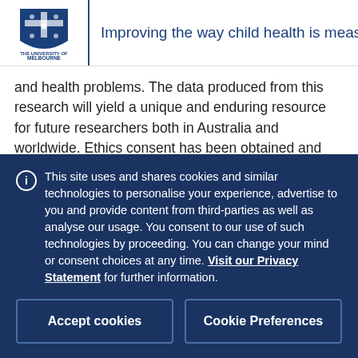Improving the way child health is measu
and health problems. The data produced from this research will yield a unique and enduring resource for future researchers both in Australia and worldwide. Ethics consent has been obtained and data collection is underway.
Project 2 investigates the way children and their proxies
This site uses and shares cookies and similar technologies to personalise your experience, advertise to you and provide content from third-parties as well as analyse our usage. You consent to our use of such technologies by proceeding. You can change your mind or consent choices at any time. Visit our Privacy Statement for further information.
Accept cookies
Cookie Preferences